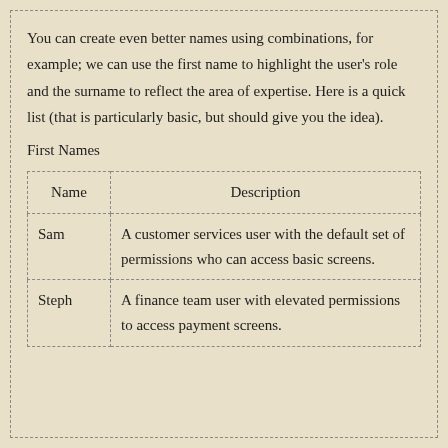You can create even better names using combinations, for example; we can use the first name to highlight the user's role and the surname to reflect the area of expertise. Here is a quick list (that is particularly basic, but should give you the idea).
First Names
| Name | Description |
| --- | --- |
| Sam | A customer services user with the default set of permissions who can access basic screens. |
| Steph | A finance team user with elevated permissions to access payment screens. |